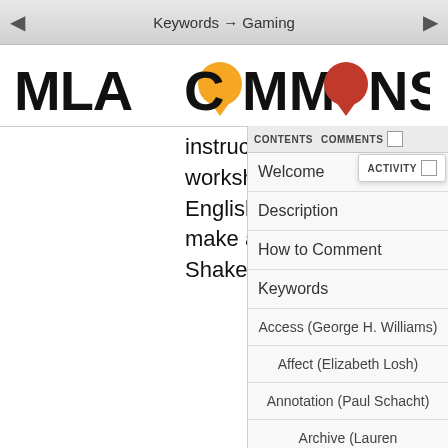Keywords → Gaming
[Figure (logo): MLA Commons logo with orange and red speech bubble icons]
instructor used these workshops to teach English majors how to make arguments about Shakespeare plays.
Understanding Intersectionality Through Critical
CONTENTS  COMMENTS  ACTIVITY
Welcome
Description
How to Comment
Keywords
Access (George H. Williams)
Affect (Elizabeth Losh)
Annotation (Paul Schacht)
Archive (Lauren